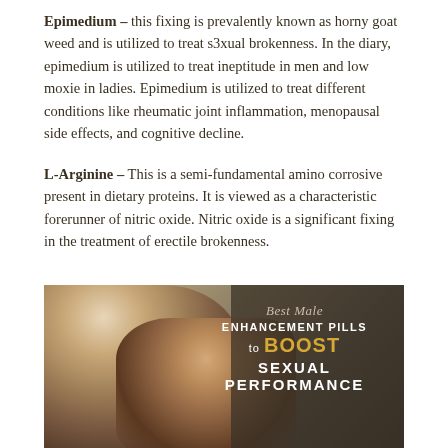Epimedium – this fixing is prevalently known as horny goat weed and is utilized to treat s3xual brokenness. In the diary, epimedium is utilized to treat ineptitude in men and low moxie in ladies. Epimedium is utilized to treat different conditions like rheumatic joint inflammation, menopausal side effects, and cognitive decline.
L-Arginine – This is a semi-fundamental amino corrosive present in dietary proteins. It is viewed as a characteristic forerunner of nitric oxide. Nitric oxide is a significant fixing in the treatment of erectile brokenness.
[Figure (photo): Photo of a couple lying together intimately with overlaid text reading: Best Male ENHANCEMENT PILLS to BOOST SEXUAL PERFORMANCE]